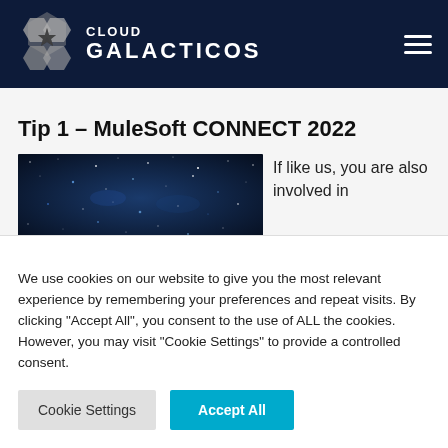[Figure (logo): Cloud Galacticos logo with hexagonal star emblem and text 'CLOUD GALACTICOS' on dark navy header]
Tip 1 – MuleSoft CONNECT 2022
[Figure (photo): Dark blue starry sky / galaxy background image]
If like us, you are also involved in
We use cookies on our website to give you the most relevant experience by remembering your preferences and repeat visits. By clicking "Accept All", you consent to the use of ALL the cookies. However, you may visit "Cookie Settings" to provide a controlled consent.